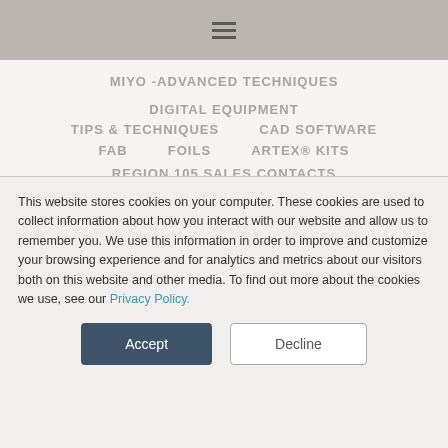Navigation menu (hamburger icon)
MIYO -ADVANCED TECHNIQUES
DIGITAL EQUIPMENT
TIPS & TECHNIQUES    CAD SOFTWARE
FAB    FOILS    ARTEX® KITS
REGION 105 SALES CONTACTS
PORCELAIN – CREATION    PORCELAIN
COMPONENTS    ARTICLES
This website stores cookies on your computer. These cookies are used to collect information about how you interact with our website and allow us to remember you. We use this information in order to improve and customize your browsing experience and for analytics and metrics about our visitors both on this website and other media. To find out more about the cookies we use, see our Privacy Policy.
Accept
Decline